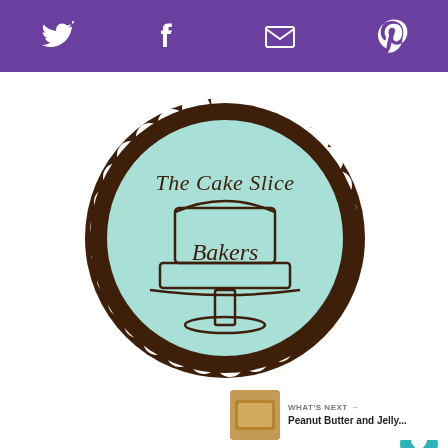Social media icons: Twitter, Facebook, Email, Pinterest
[Figure (logo): The Cake Slice Bakers logo: circular badge with brown scalloped border, mint/teal interior, featuring a cake on a stand illustration and the text 'The Cake Slice Bakers' in cursive script]
[Figure (infographic): Heart like button (teal circle with white heart icon), count of 4, and share icon below]
4
[Figure (photo): Thumbnail image of Peanut Butter and Jelly food item]
WHAT'S NEXT → Peanut Butter and Jelly...